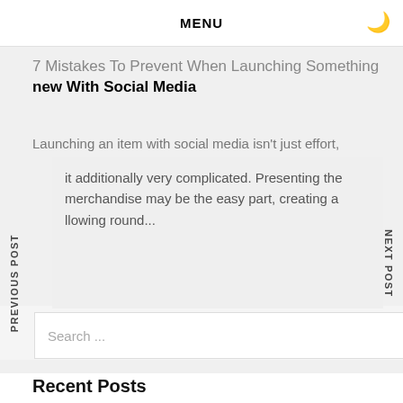MENU
7 Mistakes To Prevent When Launching Something new With Social Media
Launching an item with social media isn't just effort, it additionally very complicated. Presenting the merchandise may be the easy part, creating a llowing round...
Search ...
Recent Posts